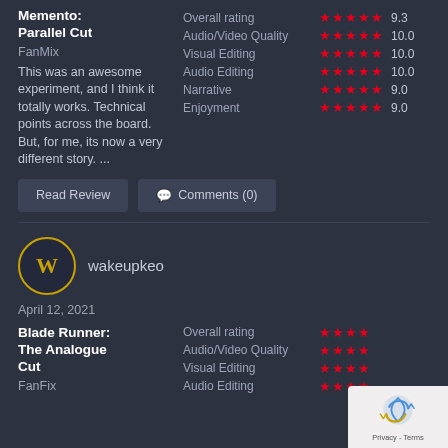Memento: Parallel Cut
FanMix
This was an awesome experiment, and I think it totally works. Technical points across the board. But, for me, its now a very different story. ...
| Category | Stars | Rating |
| --- | --- | --- |
| Overall rating | ★★★★★ | 9.3 |
| Audio/Video Quality | ★★★★★ | 10.0 |
| Visual Editing | ★★★★★ | 10.0 |
| Audio Editing | ★★★★★ | 10.0 |
| Narrative | ★★★★½ | 9.0 |
| Enjoyment | ★★★★½ | 9.0 |
Read Review
Comments (0)
[Figure (other): User avatar: dark circle with gold border, letter W in gold]
wakeupkeo
April 12, 2021
Blade Runner: The Analogue Cut
FanFix
| Category | Stars |
| --- | --- |
| Overall rating | ★★★★ |
| Audio/Video Quality | ★★★★ |
| Visual Editing | ★★★★ |
[Figure (logo): reCAPTCHA logo with Privacy - Terms text]